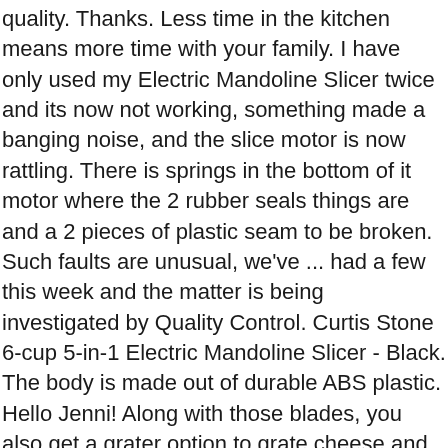quality. Thanks. Less time in the kitchen means more time with your family. I have only used my Electric Mandoline Slicer twice and its now not working, something made a banging noise, and the slice motor is now rattling. There is springs in the bottom of it motor where the 2 rubber seals things are and a 2 pieces of plastic seam to be broken. Such faults are unusual, we've ... had a few this week and the matter is being investigated by Quality Control. Curtis Stone 6-cup 5-in-1 Electric Mandoline Slicer - Black. The body is made out of durable ABS plastic. Hello Jenni! Along with those blades, you also get a grater option to grate cheese and other soft foods. Plus, you can do a waffle cut or a French fry cut. The bade are made from stainless-steel and easy to clean. With the suction cup feet, this mandoline slicer will stay where you put it. Your food prep time will be drastically cut with this mandoline slicer. Its non-skid feet keep your slicer where you put it. Then the chopper has 3 widths to customize your food. © 2021 ProductReview.com.au Pty. The 8 blades are made from rust resistant stainless-steel and the help fill the 1.2